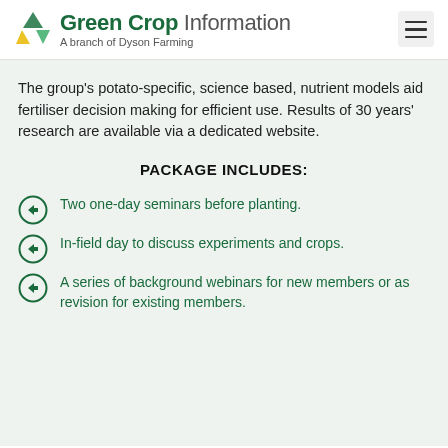Green Crop Information — A branch of Dyson Farming
The group's potato-specific, science based, nutrient models aid fertiliser decision making for efficient use. Results of 30 years' research are available via a dedicated website.
PACKAGE INCLUDES:
Two one-day seminars before planting.
In-field day to discuss experiments and crops.
A series of background webinars for new members or as revision for existing members.